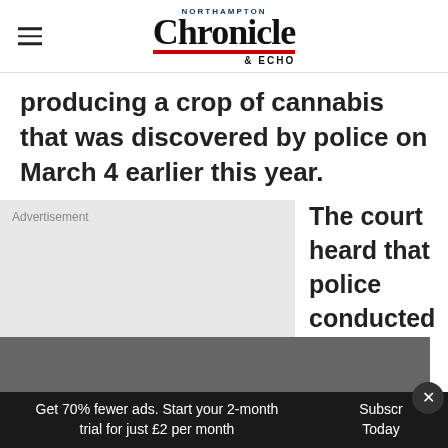Northampton Chronicle & Echo
producing a crop of cannabis that was discovered by police on March 4 earlier this year.
[Figure (other): Advertisement placeholder box with light grey background and 'Advertisement' label]
The court heard that police conducted a drug search of a
Get 70% fewer ads. Start your 2-month trial for just £2 per month  Subscribe Today